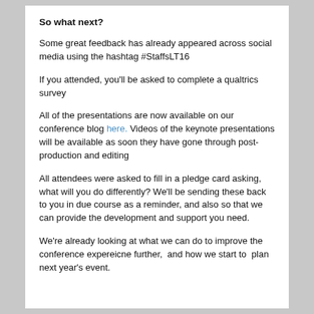So what next?
Some great feedback has already appeared across social media using the hashtag #StaffsLT16
If you attended, you'll be asked to complete a qualtrics survey
All of the presentations are now available on our conference blog here. Videos of the keynote presentations will be available as soon they have gone through post-production and editing
All attendees were asked to fill in a pledge card asking, what will you do differently? We'll be sending these back to you in due course as a reminder, and also so that we can provide the development and support you need.
We're already looking at what we can do to improve the conference expereicne further,  and how we start to  plan next year's event.